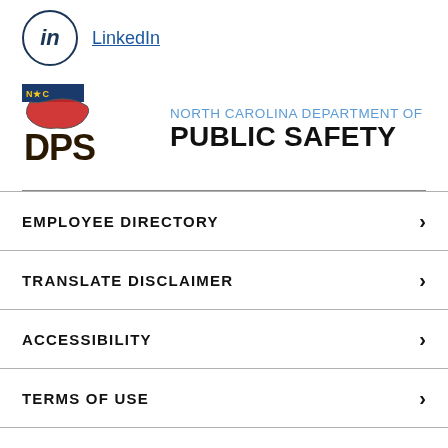[Figure (logo): LinkedIn social media icon — circle with 'in' text, followed by underlined LinkedIn link text]
[Figure (logo): North Carolina Department of Public Safety logo — DPS logo with NC state outline graphic and text 'NORTH CAROLINA DEPARTMENT OF PUBLIC SAFETY']
EMPLOYEE DIRECTORY
TRANSLATE DISCLAIMER
ACCESSIBILITY
TERMS OF USE